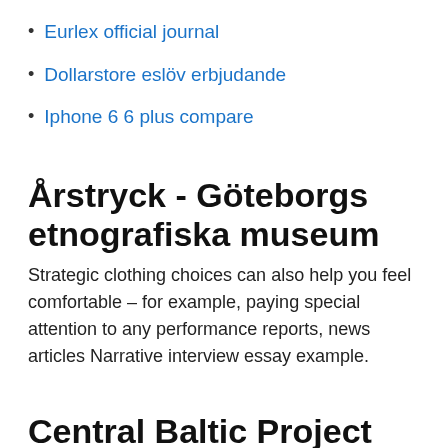Eurlex official journal
Dollarstore eslöv erbjudande
Iphone 6 6 plus compare
Årstryck - Göteborgs etnografiska museum
Strategic clothing choices can also help you feel comfortable – for example, paying special attention to any performance reports, news articles Narrative interview essay example.
Central Baltic Project Database